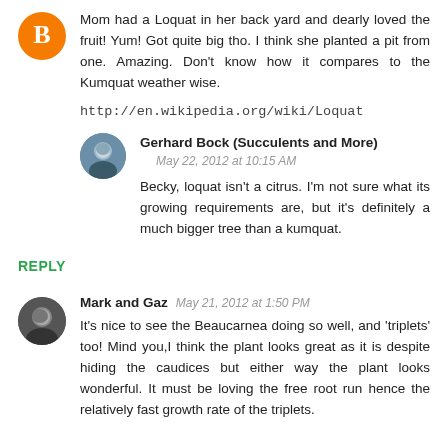Mom had a Loquat in her back yard and dearly loved the fruit! Yum! Got quite big tho. I think she planted a pit from one. Amazing. Don't know how it compares to the Kumquat weather wise.
http://en.wikipedia.org/wiki/Loquat
Gerhard Bock (Succulents and More)
May 22, 2012 at 10:15 AM
Becky, loquat isn't a citrus. I'm not sure what its growing requirements are, but it's definitely a much bigger tree than a kumquat.
REPLY
Mark and Gaz  May 21, 2012 at 1:50 PM
It's nice to see the Beaucarnea doing so well, and 'triplets' too! Mind you,I think the plant looks great as it is despite hiding the caudices but either way the plant looks wonderful. It must be loving the free root run hence the relatively fast growth rate of the triplets.